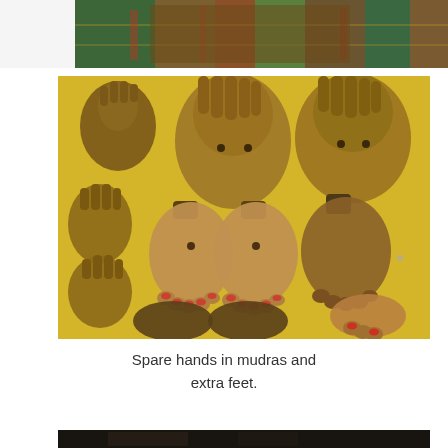[Figure (photo): Top strip showing colorful fabric/sari with green, red and gold colors]
[Figure (photo): Collection of spare wooden/painted hands in various mudra gestures and extra feet for deity statues, arranged on a yellow background]
Spare hands in mudras and extra feet.
[Figure (photo): Bottom partial photo, dark image]